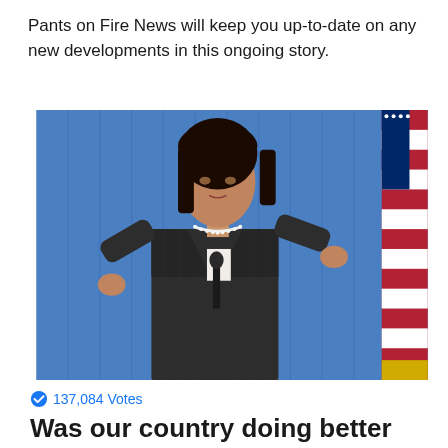Pants on Fire News will keep you up-to-date on any new developments in this ongoing story.
[Figure (photo): A woman in a dark pinstripe blazer and pearl necklace speaking at a microphone with a blue curtain background and an American flag visible to the right.]
137,084 Votes
Was our country doing better when Donald Trump was in the White House?